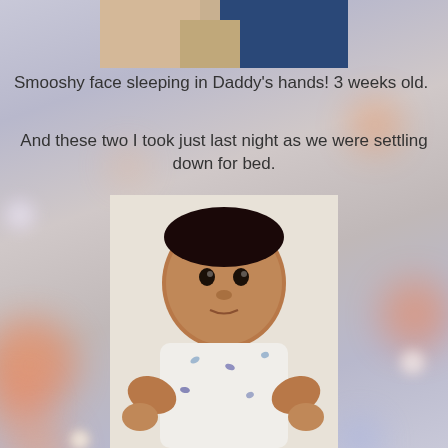[Figure (photo): Partial photo at top showing baby sleeping in Daddy's hands, with a blue background visible]
Smooshy face sleeping in Daddy's hands! 3 weeks old.
And these two I took just last night as we were settling down for bed.
[Figure (photo): Photo of a baby lying on a white surface, wearing a white patterned onesie, looking at the camera with wide eyes]